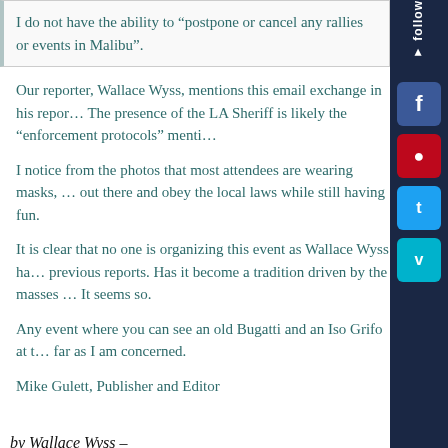I do not have the ability to “postpone or cancel any rallies or events in Malibu”.
Our reporter, Wallace Wyss, mentions this email exchange in his report. The presence of the LA Sheriff is likely the “enforcement protocols” mentioned.
I notice from the photos that most attendees are wearing masks, good to be out there and obey the local laws while still having fun.
It is clear that no one is organizing this event as Wallace Wyss has noted in previous reports. Has it become a tradition driven by the masses who love cars? It seems so.
Any event where you can see an old Bugatti and an Iso Grifo at the same time is, as far as I am concerned.
Mike Gulett, Publisher and Editor
by Wallace Wyss –
Photographs by Richard Bartholomew –
When you go out for a Sunday morning drive to your favorite spot, you don’t expect to be turned away. And we were, sort of.